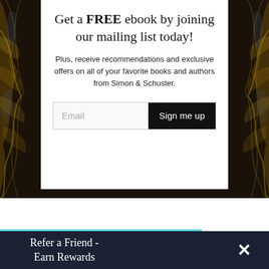Get a FREE ebook by joining our mailing list today!
Plus, receive recommendations and exclusive offers on all of your favorite books and authors from Simon & Schuster.
Email
Sign me up
[Figure (screenshot): Teal colored image strip at the bottom of the page]
Refer a Friend - Earn Rewards